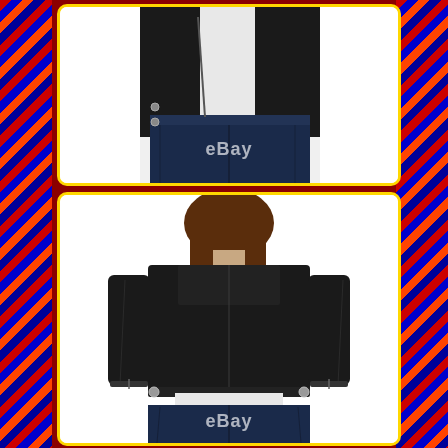[Figure (photo): Two eBay product photos of a woman modeling a black leather motorcycle jacket. Top photo shows the side/front view from waist down, with the model wearing jeans. Bottom photo shows the back view of the jacket, model with brown hair, wearing jeans, with 'eBay' watermark visible. Both photos have gold rounded borders on a dark red background with flame-patterned side borders.]